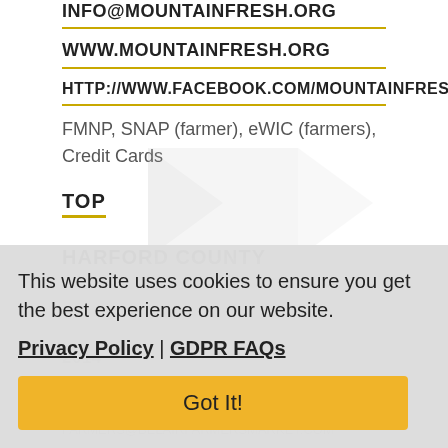INFO@MOUNTAINFRESH.ORG
WWW.MOUNTAINFRESH.ORG
HTTP://WWW.FACEBOOK.COM/MOUNTAINFRESHFARMERS
FMNP, SNAP (farmer), eWIC (farmers), Credit Cards
TOP
HARFORD COUNTY
This website uses cookies to ensure you get the best experience on our website. Privacy Policy | GDPR FAQs
Got It!